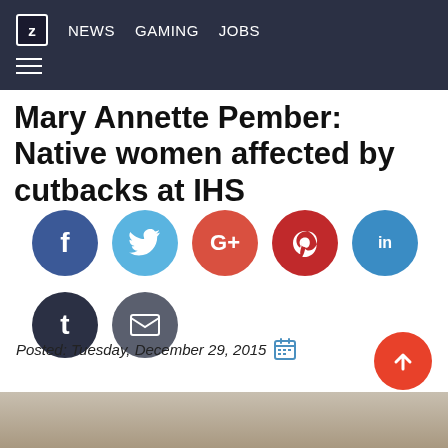z NEWS  GAMING  JOBS
Mary Annette Pember: Native women affected by cutbacks at IHS
[Figure (infographic): Social share buttons: Facebook (dark blue), Twitter (light blue), Google+ (red-orange), Pinterest (dark red), LinkedIn (blue), Tumblr (dark navy), Email (dark gray)]
ihs
mary annette pember
rosebud sioux
south dakota
women
Posted: Tuesday, December 29, 2015
[Figure (photo): Partial view of a building or indoor scene, beige/tan tones, bottom of page]